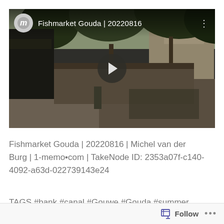[Figure (screenshot): Video thumbnail showing a street scene at Fishmarket Gouda with trees, bicycles, outdoor seating. Overlay shows channel icon with letter M, title 'Fishmarket Gouda | 20220816', a play button in the center, and a three-dot menu icon.]
Fishmarket Gouda | 20220816 | Michel van der Burg | 1-memo•com | TakeNode ID: 2353a07f-c140-4092-a63d-022739143e24
TAGS #bank #canal #Gouwe #Gouda #summer
Follow ···